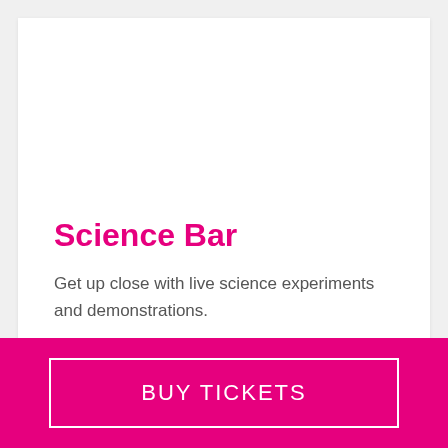Science Bar
Get up close with live science experiments and demonstrations.
BUY TICKETS